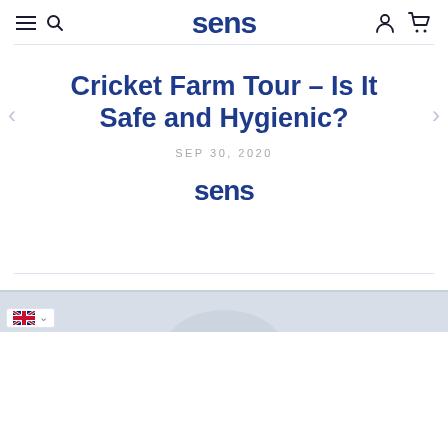sens
Cricket Farm Tour – Is It Safe and Hygienic?
SEP 30, 2020
[Figure (logo): sens logo in dark blue bold font]
[Figure (photo): Bottom portion of page showing a blurred image, likely a cricket farm or food product photo, partially visible]